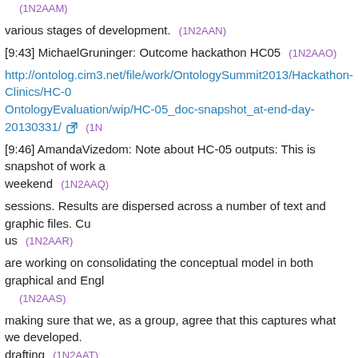(1N2AAM)
various stages of development. (1N2AAN)
[9:43] MichaelGruninger: Outcome hackathon HC05 (1N2AAO)
http://ontolog.cim3.net/file/work/OntologySummit2013/Hackathon-Clinics/HC-OntologyEvaluation/wip/HC-05_doc-snapshot_at-end-day-20130331/ (1N
[9:46] AmandaVizedom: Note about HC-05 outputs: This is snapshot of work a weekend (1N2AAQ)
sessions. Results are dispersed across a number of text and graphic files. Cu us (1N2AAR)
are working on consolidating the conceptual model in both graphical and Engl (1N2AAS)
making sure that we, as a group, agree that this captures what we developed. drafting (1N2AAT)
formal ontologies based on this, in OWL and Common Logic, but all should be drafts, (1N2AAU)
and current push is on the consolidated concept model. (1N2AAV)
[9:55] PeterYim: @Amanda, Ali, et al. - at the OntolOp working group meeting (1N2AAW)